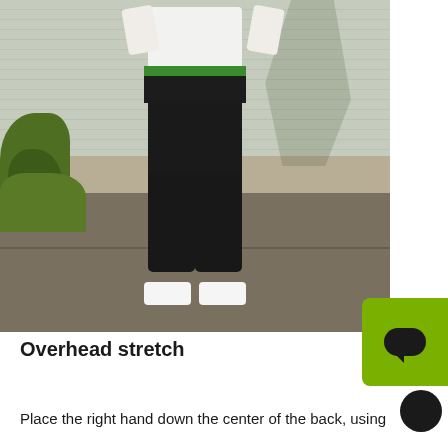[Figure (photo): A person wearing black high-waisted leggings, a white crop top with green waistband, and white sneakers, standing outdoors against a light green/grey siding wall with bushes on the left side and a sidewalk below.]
Overhead stretch
Place the right hand down the center of the back, using